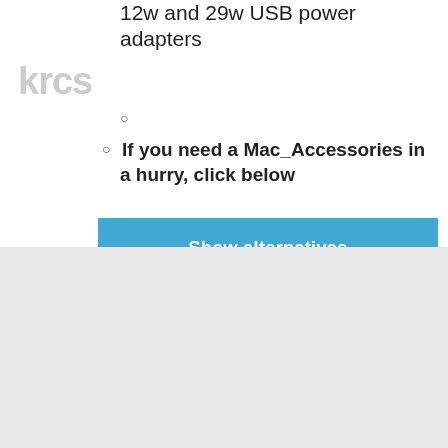12w and 29w USB power adapters
If you need a Mac_Accessories in a hurry, click below
Show alternatives
By clicking ‘Accept’, you agree to the storing of cookies on your device for an enhanced experience as well as analytical and commercial purposes. To learn more about how we use cookies, please see our privacy policy.
Allow
Deny